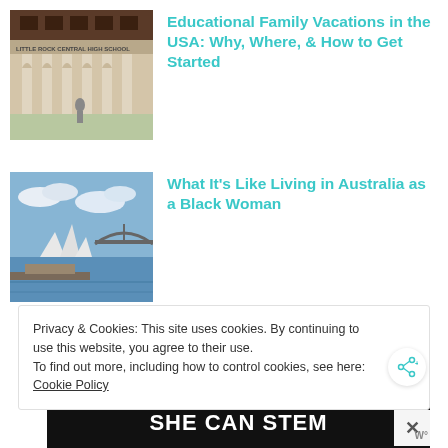[Figure (photo): Photo of a school building facade with arched columns and 'LITTLE ROCK CENTRAL HIGH SCHOOL' text, a person standing in front]
Educational Family Vacations in the USA: Why, Where, & How to Get Started
[Figure (photo): Photo of Sydney Opera House and harbour waterfront with blue sky and clouds]
What It's Like Living in Australia as a Black Woman
Privacy & Cookies: This site uses cookies. By continuing to use this website, you agree to their use.
To find out more, including how to control cookies, see here: Cookie Policy
[Figure (infographic): SHE CAN STEM banner in white bold text on dark background]